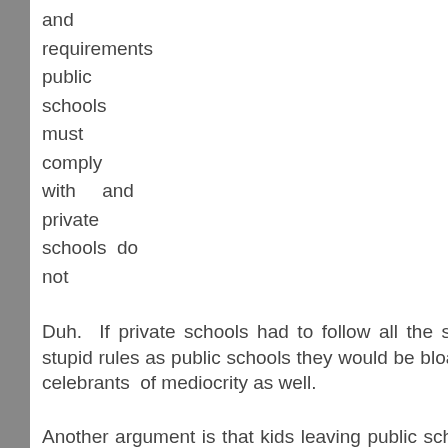and requirements public schools must comply with and private schools do not
Duh. If private schools had to follow all the same stupid rules as public schools they would be bloated celebrants of mediocrity as well.
Another argument is that kids leaving public schools will drain the schools of money. This is